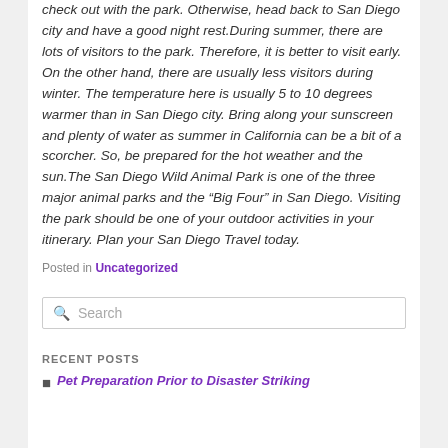check out with the park. Otherwise, head back to San Diego city and have a good night rest.During summer, there are lots of visitors to the park. Therefore, it is better to visit early. On the other hand, there are usually less visitors during winter. The temperature here is usually 5 to 10 degrees warmer than in San Diego city. Bring along your sunscreen and plenty of water as summer in California can be a bit of a scorcher. So, be prepared for the hot weather and the sun.The San Diego Wild Animal Park is one of the three major animal parks and the “Big Four” in San Diego. Visiting the park should be one of your outdoor activities in your itinerary. Plan your San Diego Travel today.
Posted in Uncategorized
Search
RECENT POSTS
Pet Preparation Prior to Disaster Striking